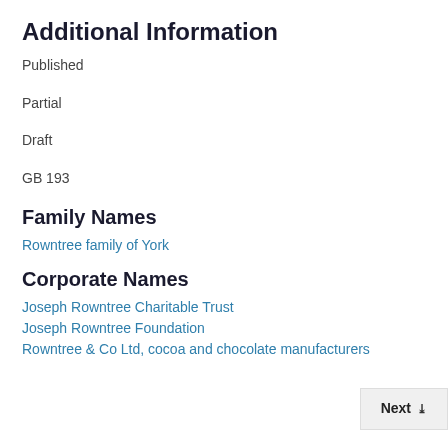Additional Information
Published
Partial
Draft
GB 193
Family Names
Rowntree family of York
Corporate Names
Joseph Rowntree Charitable Trust
Joseph Rowntree Foundation
Rowntree & Co Ltd, cocoa and chocolate manufacturers
Next